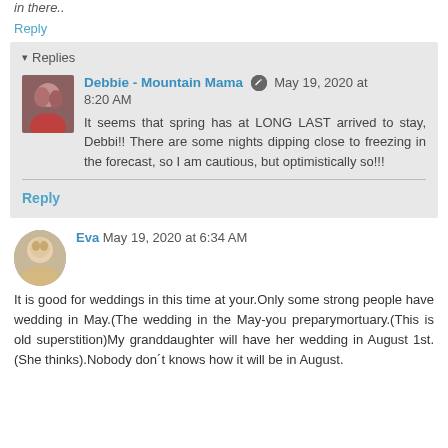in there..
Reply
▾ Replies
Debbie - Mountain Mama  May 19, 2020 at 8:20 AM
It seems that spring has at LONG LAST arrived to stay, Debbi!! There are some nights dipping close to freezing in the forecast, so I am cautious, but optimistically so!!!
Reply
Eva  May 19, 2020 at 6:34 AM
It is good for weddings in this time at your.Only some strong people have wedding in May.(The wedding in the May-you preparymortuary.(This is old superstition)My granddaughter will have her wedding in August 1st.(She thinks).Nobody don´t knows how it will be in August.